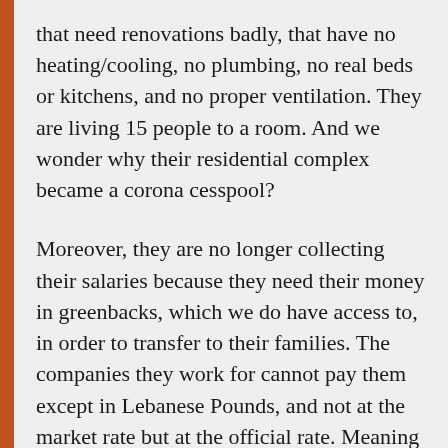that need renovations badly, that have no heating/cooling, no plumbing, no real beds or kitchens, and no proper ventilation. They are living 15 people to a room. And we wonder why their residential complex became a corona cesspool?
Moreover, they are no longer collecting their salaries because they need their money in greenbacks, which we do have access to, in order to transfer to their families. The companies they work for cannot pay them except in Lebanese Pounds, and not at the market rate but at the official rate. Meaning their salaries are now worth about $50 per month.